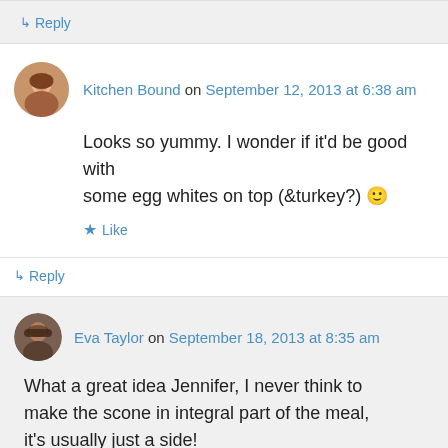↳ Reply
Kitchen Bound on September 12, 2013 at 6:38 am
Looks so yummy. I wonder if it'd be good with some egg whites on top (&turkey?) 🙂
★ Like
↳ Reply
Eva Taylor on September 18, 2013 at 8:35 am
What a great idea Jennifer, I never think to make the scone in integral part of the meal, it's usually just a side!